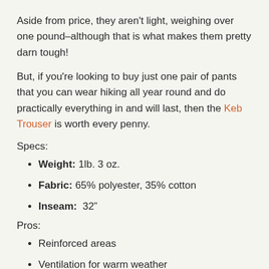Aside from price, they aren't light, weighing over one pound–although that is what makes them pretty darn tough!
But, if you're looking to buy just one pair of pants that you can wear hiking all year round and do practically everything in and will last, then the Keb Trouser is worth every penny.
Specs:
Weight: 1lb. 3 oz.
Fabric: 65% polyester, 35% cotton
Inseam:  32"
Pros:
Reinforced areas
Ventilation for warm weather